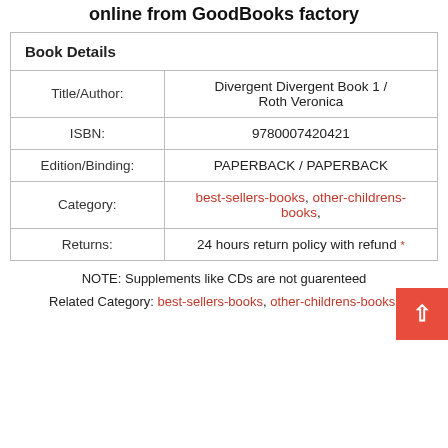online from GoodBooks factory
| Book Details |
| --- |
| Title/Author: | Divergent Divergent Book 1 / Roth Veronica |
| ISBN: | 9780007420421 |
| Edition/Binding: | PAPERBACK / PAPERBACK |
| Category: | best-sellers-books, other-childrens-books, |
| Returns: | 24 hours return policy with refund * |
NOTE: Supplements like CDs are not guarenteed
Related Category: best-sellers-books, other-childrens-books,